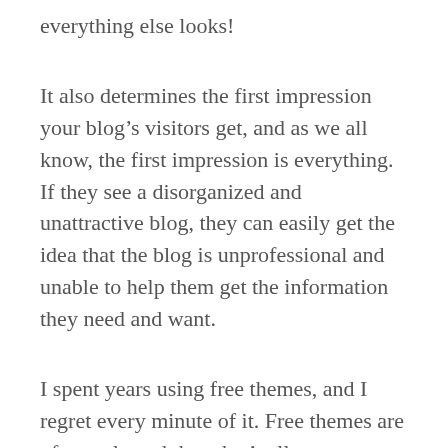everything else looks!
It also determines the first impression your blog’s visitors get, and as we all know, the first impression is everything. If they see a disorganized and unattractive blog, they can easily get the idea that the blog is unprofessional and unable to help them get the information they need and want.
I spent years using free themes, and I regret every minute of it. Free themes are often ugly and they don’t allow you to create the type of look for your website that you want to create. They have limited options for changing your blog’s font, colors, widgets, headers and features, and by and by...